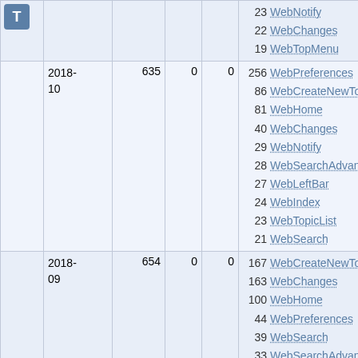|  | Date | Visits | Col3 | Col4 | Top Pages |
| --- | --- | --- | --- | --- | --- |
| T (icon) |  |  |  |  | 23 WebNotify
22 WebChanges
19 WebTopMenu |
|  | 2018-10 | 635 | 0 | 0 | 256 WebPreferences
86 WebCreateNewTopic
81 WebHome
40 WebChanges
29 WebNotify
28 WebSearchAdvanced
27 WebLeftBar
24 WebIndex
23 WebTopicList
21 WebSearch |
|  | 2018-09 | 654 | 0 | 0 | 167 WebCreateNewTopic
163 WebChanges
100 WebHome
44 WebPreferences
39 WebSearch
33 WebSearchAdvanced
29 WebNotify
23 WebIndex
24 WebLeftBar |